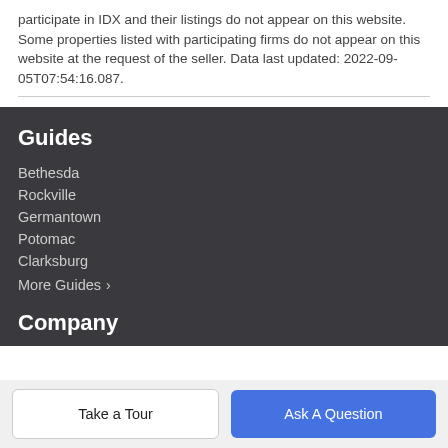participate in IDX and their listings do not appear on this website. Some properties listed with participating firms do not appear on this website at the request of the seller. Data last updated: 2022-09-05T07:54:16.087.
Guides
Bethesda
Rockville
Germantown
Potomac
Clarksburg
More Guides ›
Company
Take a Tour
Ask A Question